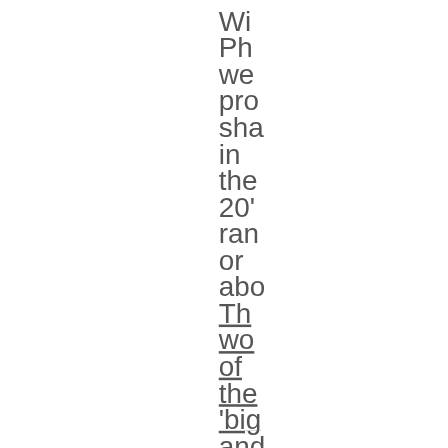Wi
Ph
we
pro
sha
in
the
20'
ran
or
abo
Th
wo
of
the
'big
and
ha